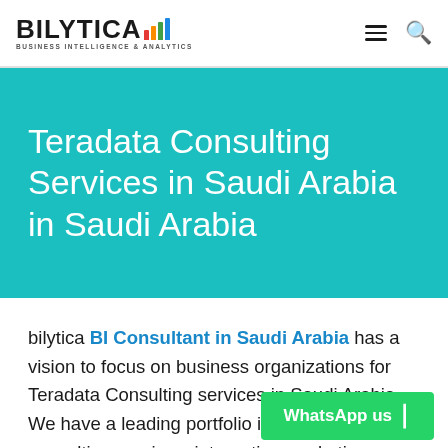BILYTICA — BUSINESS INTELLIGENCE & ANALYTICS
Teradata Consulting Services in Saudi Arabia in Saudi Arabia
bilytica BI Consultant in Saudi Arabia has a vision to focus on business organizations for Teradata Consulting services in Saudi Arabia. We have a leading portfolio in big data consulting services, integrating marketing applications and the services which could help to get sustainable growth in the long run. These services help in extending the